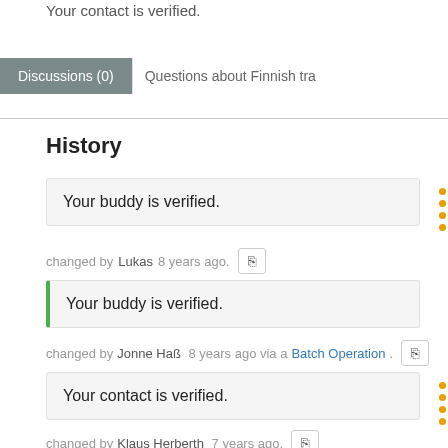Your contact is verified.
Discussions (0)
Questions about Finnish tra
History
Your buddy is verified.
changed by Lukas 8 years ago.
Your buddy is verified.
changed by Jonne Haß 8 years ago via a Batch Operation.
Your contact is verified.
changed by Klaus Herberth 7 years ago.
Your contact is verified.